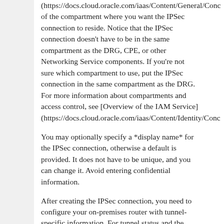(https://docs.cloud.oracle.com/iaas/Content/General/Conc... of the compartment where you want the IPSec connection to reside. Notice that the IPSec connection doesn't have to be in the same compartment as the DRG, CPE, or other Networking Service components. If you're not sure which compartment to use, put the IPSec connection in the same compartment as the DRG. For more information about compartments and access control, see [Overview of the IAM Service] (https://docs.cloud.oracle.com/iaas/Content/Identity/Conc...
You may optionally specify a *display name* for the IPSec connection, otherwise a default is provided. It does not have to be unique, and you can change it. Avoid entering confidential information.
After creating the IPSec connection, you need to configure your on-premises router with tunnel-specific information. For tunnel status and the required configuration information, see:
IPSecConnectionTunnel *